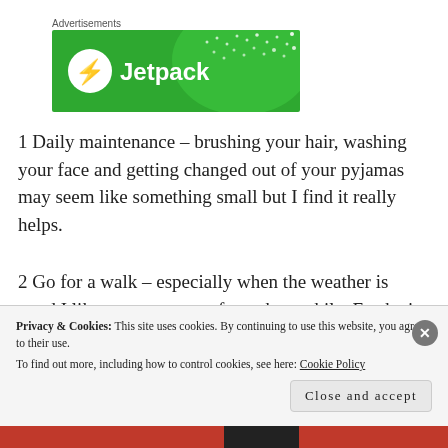[Figure (other): Jetpack advertisement banner with green background and Jetpack logo]
1 Daily maintenance – brushing your hair, washing your face and getting changed out of your pyjamas may seem like something small but I find it really helps.
2 Go for a walk – especially when the weather is good I like to go out even for a short while. Fresh air and just getting
Privacy & Cookies: This site uses cookies. By continuing to use this website, you agree to their use.
To find out more, including how to control cookies, see here: Cookie Policy
Close and accept